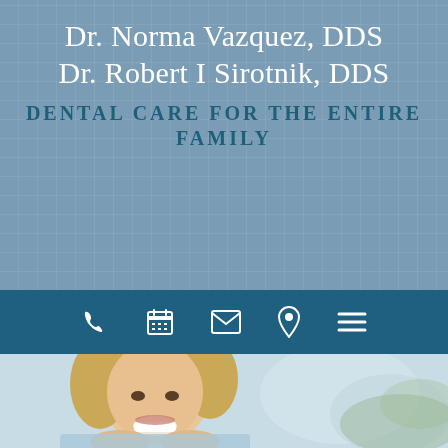Dr. Norma Vazquez, DDS
Dr. Robert I Sirotnik, DDS
DENTAL CARE FOR THE ENTIRE FAMILY
[Figure (screenshot): Navigation bar with icons: phone, calendar, envelope/mail, location pin, hamburger menu]
[Figure (photo): Smiling blonde middle-aged woman resting her face on her hands, wearing a light blue top, with a blurred outdoor background]